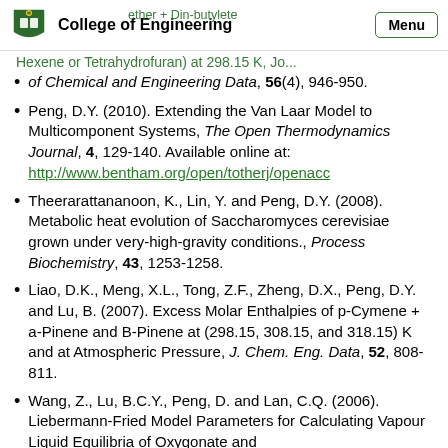College of Engineering
of Chemical and Engineering Data, 56(4), 946-950.
Peng, D.Y. (2010). Extending the Van Laar Model to Multicomponent Systems, The Open Thermodynamics Journal, 4, 129-140. Available online at: http://www.bentham.org/open/totherj/openac
Theerarattananoon, K., Lin, Y. and Peng, D.Y. (2008). Metabolic heat evolution of Saccharomyces cerevisiae grown under very-high-gravity conditions., Process Biochemistry, 43, 1253-1258.
Liao, D.K., Meng, X.L., Tong, Z.F., Zheng, D.X., Peng, D.Y. and Lu, B. (2007). Excess Molar Enthalpies of p-Cymene + a-Pinene and B-Pinene at (298.15, 308.15, and 318.15) K and at Atmospheric Pressure, J. Chem. Eng. Data, 52, 808-811.
Wang, Z., Lu, B.C.Y., Peng, D. and Lan, C.Q. (2006). Liebermann-Fried Model Parameters for Calculating Vapour Liquid Equilibria of Oxygonate and